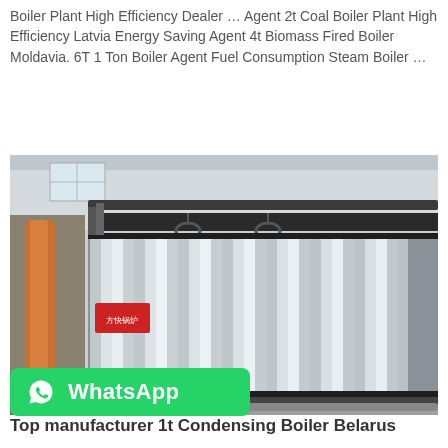Boiler Plant High Efficiency Dealer … Agent 2t Coal Boiler Plant High Efficiency Latvia Energy Saving Agent 4t Biomass Fired Boiler Moldavia. 6T 1 Ton Boiler Agent Fuel Consumption Steam Boiler …
Get Price
[Figure (photo): Industrial boiler with corrugated metal cladding inside a factory warehouse. The boiler has a large rectangular form with silver/grey ribbed sheet metal panels. Black piping runs along the top. A red/orange pipe column is visible on the left side.]
[Figure (logo): WhatsApp green button with WhatsApp phone icon and the text 'WhatsApp']
Top manufacturer 1t Condensing Boiler Belarus